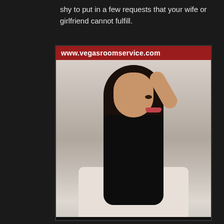shy to put in a few requests that your wife or girlfriend cannot fulfill.
[Figure (photo): Promotional photo of a young woman in black lingerie seated on a white sofa, with website URL bar 'www.vegasroomservice.com' overlaid at the top of the image.]